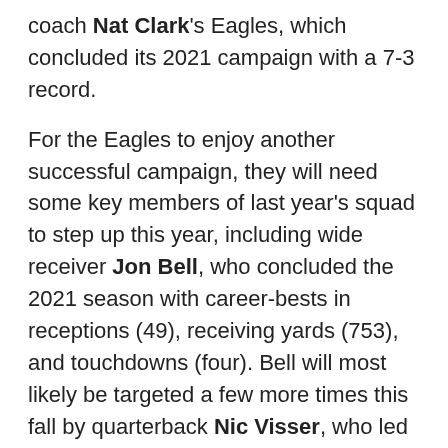coach Nat Clark's Eagles, which concluded its 2021 campaign with a 7-3 record.
For the Eagles to enjoy another successful campaign, they will need some key members of last year's squad to step up this year, including wide receiver Jon Bell, who concluded the 2021 season with career-bests in receptions (49), receiving yards (753), and touchdowns (four). Bell will most likely be targeted a few more times this fall by quarterback Nic Visser, who led the conference in passing yards (2,598).
Linebacker Tucker Buzzell will be the player to watch on defense after leading Husson with 85 total tackles last fall.